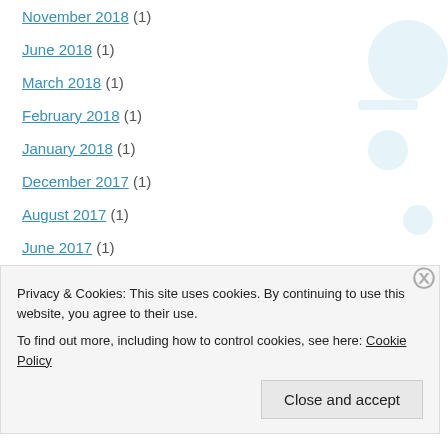November 2018 (1)
June 2018 (1)
March 2018 (1)
February 2018 (1)
January 2018 (1)
December 2017 (1)
August 2017 (1)
June 2017 (1)
May 2017 (1)
January 2017 (1)
December 2016 (2)
October 2016 (2)
Privacy & Cookies: This site uses cookies. By continuing to use this website, you agree to their use.
To find out more, including how to control cookies, see here: Cookie Policy
Close and accept